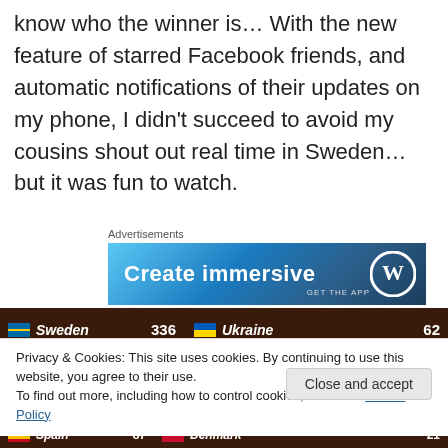know who the winner is… With the new feature of starred Facebook friends, and automatic notifications of their updates on my phone, I didn't succeed to avoid my cousins shout out real time in Sweden… but it was fun to watch.
Advertisements
[Figure (screenshot): Advertisement banner with blue gradient background showing 'Create immersive' text and WordPress logo, with 'GET THE APP' label]
[Figure (screenshot): Scoreboard showing: Sweden 336, Ukraine 62, Russia 246, Greece (partial score)]
Privacy & Cookies: This site uses cookies. By continuing to use this website, you agree to their use.
To find out more, including how to control cookies, see here: Cookie Policy
Close and accept
[Figure (screenshot): Scoreboard bottom row showing: Spain 87, Denmark 21]